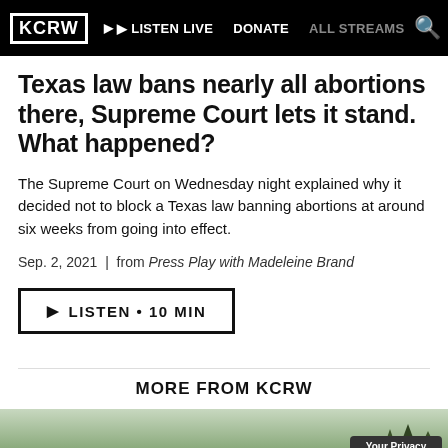KCRW | LISTEN LIVE | DONATE | ALL STREAMS
Texas law bans nearly all abortions there, Supreme Court lets it stand. What happened?
The Supreme Court on Wednesday night explained why it decided not to block a Texas law banning abortions at around six weeks from going into effect.
Sep. 2, 2021  |  from Press Play with Madeleine Brand
▶ LISTEN • 10 MIN
MORE FROM KCRW
[Figure (photo): Bottom strip image showing trees/landscape]